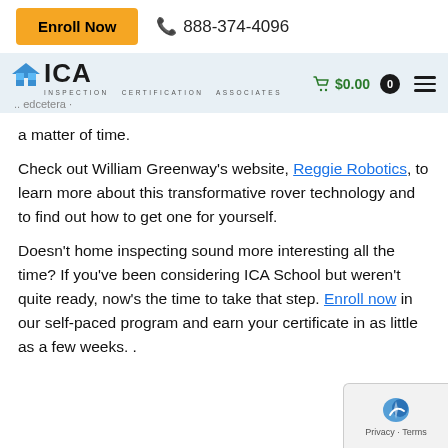Enroll Now  888-374-4096
[Figure (logo): ICA Inspection Certification Associates logo with house icon and edcetera branding, nav bar with cart showing $0.00 and hamburger menu]
a matter of time.
Check out William Greenway’s website, Reggie Robotics, to learn more about this transformative rover technology and to find out how to get one for yourself.
Doesn’t home inspecting sound more interesting all the time? If you’ve been considering ICA School but weren’t quite ready, now’s the time to take that step. Enroll now in our self-paced program and earn your certificate in as little as a few weeks. .